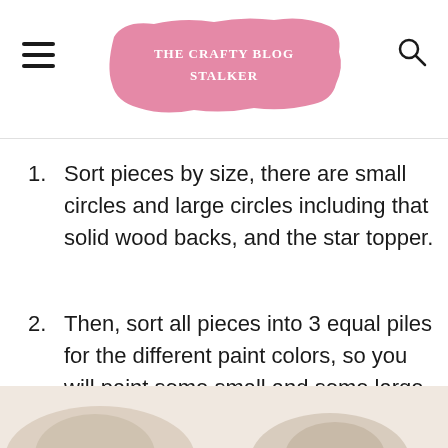The Crafty Blog Stalker
Sort pieces by size, there are small circles and large circles including that solid wood backs, and the star topper.
Then, sort all pieces into 3 equal piles for the different paint colors, so you will paint some small and some large for each color.
[Figure (photo): Bottom partial photo strip showing craft materials (wooden pieces) on a light background.]